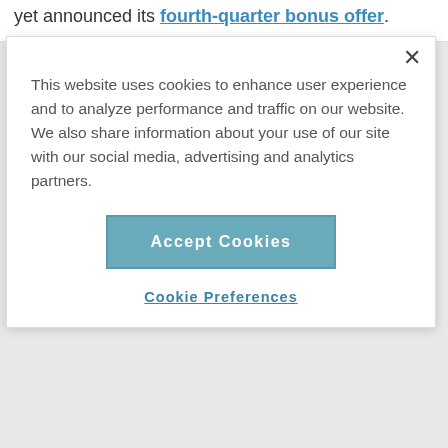yet announced its fourth-quarter bonus offer.
This website uses cookies to enhance user experience and to analyze performance and traffic on our website. We also share information about your use of our site with our social media, advertising and analytics partners.
Accept Cookies
Cookie Preferences